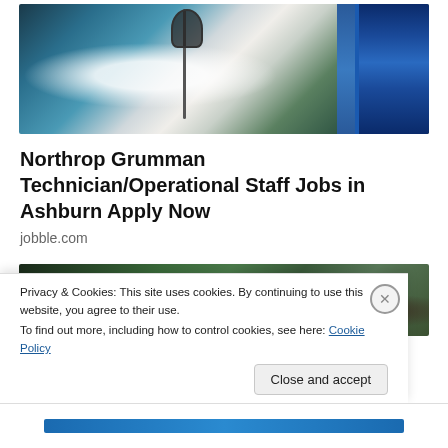[Figure (photo): Person in white lab coat working with a microscope in a laboratory setting, with blue equipment/signage visible in the background]
Northrop Grumman Technician/Operational Staff Jobs in Ashburn Apply Now
jobble.com
[Figure (photo): Two people outdoors with green foliage in the background — partial view of their heads/upper bodies]
Privacy & Cookies: This site uses cookies. By continuing to use this website, you agree to their use.
To find out more, including how to control cookies, see here: Cookie Policy
Close and accept